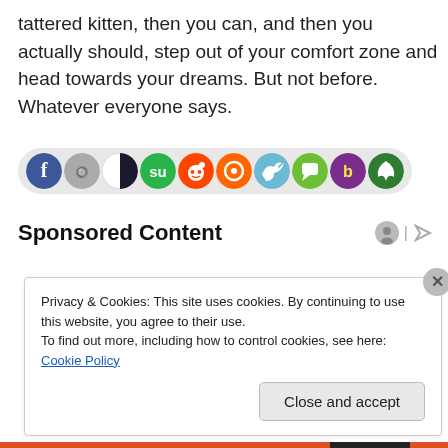tattered kitten, then you can, and then you actually should, step out of your comfort zone and head towards your dreams. But not before. Whatever everyone says.
[Figure (other): A row of social media sharing icons including Facebook, and various other social network icons in circular colored buttons on a grey rounded bar.]
Sponsored Content
Privacy & Cookies: This site uses cookies. By continuing to use this website, you agree to their use.
To find out more, including how to control cookies, see here: Cookie Policy